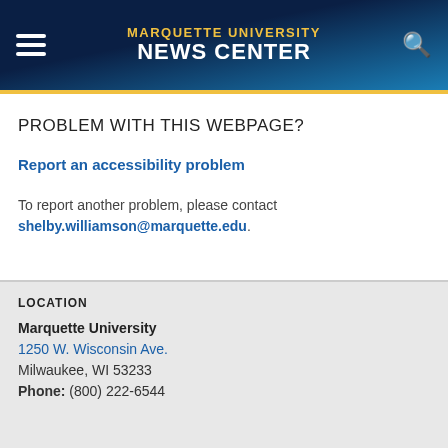MARQUETTE UNIVERSITY NEWS CENTER
PROBLEM WITH THIS WEBPAGE?
Report an accessibility problem
To report another problem, please contact shelby.williamson@marquette.edu.
LOCATION
Marquette University
1250 W. Wisconsin Ave.
Milwaukee, WI 53233
Phone: (800) 222-6544